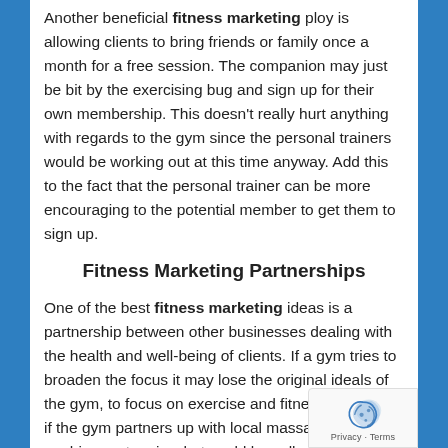Another beneficial fitness marketing ploy is allowing clients to bring friends or family once a month for a free session. The companion may just be bit by the exercising bug and sign up for their own membership. This doesn't really hurt anything with regards to the gym since the personal trainers would be working out at this time anyway. Add this to the fact that the personal trainer can be more encouraging to the potential member to get them to sign up.
Fitness Marketing Partnerships
One of the best fitness marketing ideas is a partnership between other businesses dealing with the health and well-being of clients. If a gym tries to broaden the focus it may lose the original ideals of the gym, to focus on exercise and fitness. However, if the gym partners up with local massage therapists or chiropractors in what could be called a mutual referral relationship, both businesses can prosper. Creating a...